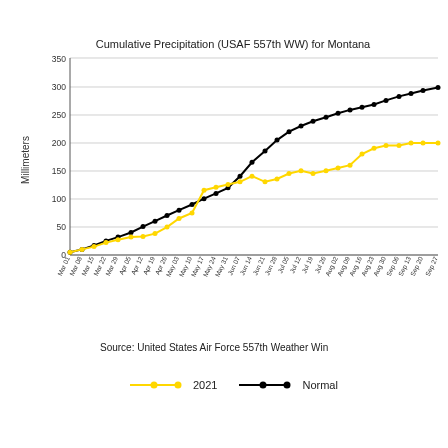[Figure (line-chart): Cumulative Precipitation (USAF 557th WW) for Montana]
Source: United States Air Force 557th Weather Win
2021   Normal